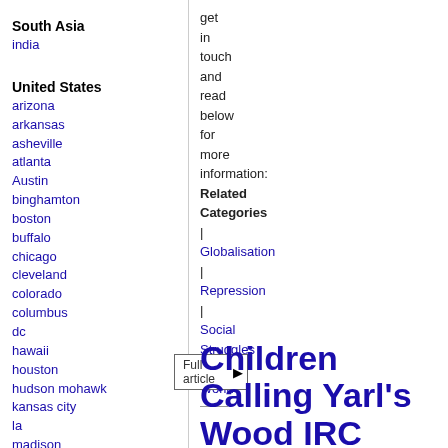South Asia
india
United States
arizona
arkansas
asheville
atlanta
Austin
binghamton
boston
buffalo
chicago
cleveland
colorado
columbus
dc
hawaii
houston
hudson mohawk
kansas city
la
madison
maine
miami
get in touch and read below for more information: Related Categories | Globalisation | Repression | Social Struggles | World
Children Calling Yarl's Wood IRC 'Home'